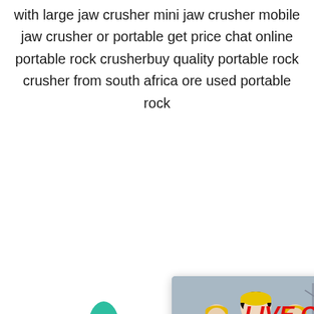with large jaw crusher mini jaw crusher mobile jaw crusher or portable get price chat online portable rock crusherbuy quality portable rock crusher from south africa ore used portable rock
[Figure (screenshot): Live chat popup overlay showing workers in hard hats with 'LIVE CHAT' in red italic text, 'Click for a Free Consultation' subtitle, and Chat now / Chat later buttons]
[Figure (screenshot): Right blue sidebar panel with 'hour online' text, industrial crusher machine image, 'Click me to chat>>' button, dashed divider, and 'Enquiry' text]
[Figure (photo): Construction site photograph showing industrial equipment and structures in snowy/winter conditions]
por le iron crusher su south afric
2021-6-5  used iro